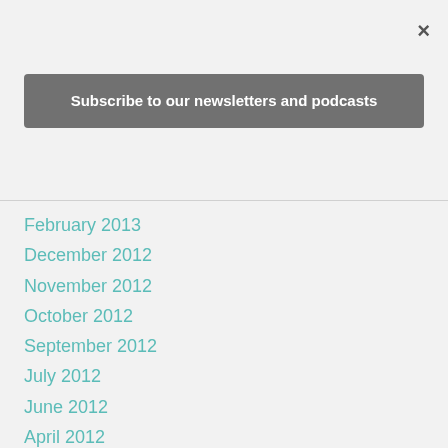Subscribe to our newsletters and podcasts
February 2013
December 2012
November 2012
October 2012
September 2012
July 2012
June 2012
April 2012
March 2012
February 2012
January 2012
November 2011
October 2011
September 2011
August 2011
July 2011